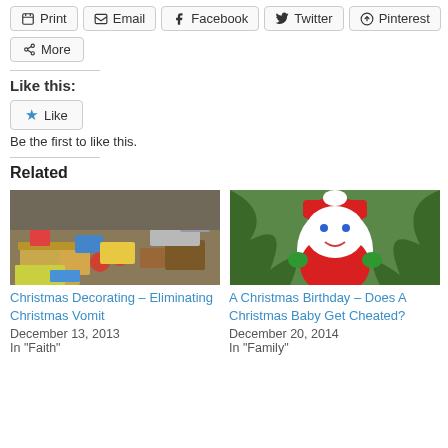Print
Email
Facebook
Twitter
Pinterest
More
Like this:
Like
Be the first to like this.
Related
[Figure (photo): Christmas decorating items scattered on floor - boxes, ribbons, decorations]
Christmas Decorating – Eliminating Christmas Vomit
December 13, 2013
In "Faith"
[Figure (photo): Handmade Santa Claus Christmas ornament on a tree with white body, red outfit and blue eyes]
A Christmas Birthday – Does A Christmas Baby Get Cheated?
December 20, 2014
In "Family"